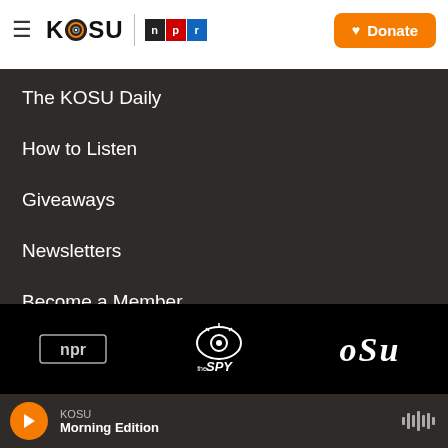KOSU NPR | Donate
The KOSU Daily
How to Listen
Giveaways
Newsletters
Become a Member
[Figure (logo): Partner logos bar: NPR, The SPY, OSU]
KOSU Morning Edition (audio player bar)